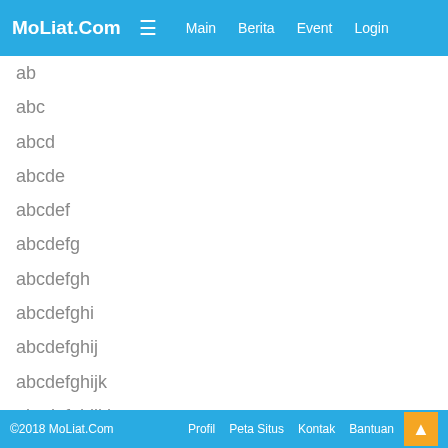MoLiat.Com  ☰  Main  Berita  Event  Login
ab
abc
abcd
abcde
abcdef
abcdefg
abcdefgh
abcdefghi
abcdefghij
abcdefghijk
abcdefghijkl
abcdefghijklm
abcdefghijklmn
abcdefghijklmno
abcdefghijklmnop
abcdefghijklmnopq
©2018 MoLiat.Com  Profil  Peta Situs  Kontak  Bantuan  ▲